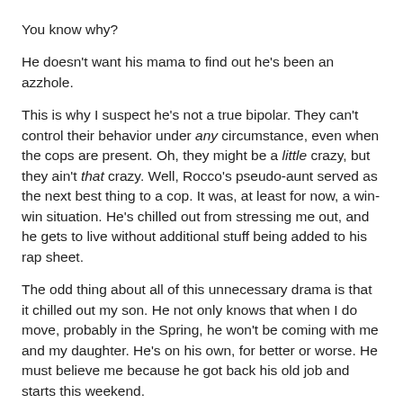You know why?
He doesn't want his mama to find out he's been an azzhole.
This is why I suspect he's not a true bipolar. They can't control their behavior under any circumstance, even when the cops are present. Oh, they might be a little crazy, but they ain't that crazy. Well, Rocco's pseudo-aunt served as the next best thing to a cop. It was, at least for now, a win-win situation. He's chilled out from stressing me out, and he gets to live without additional stuff being added to his rap sheet.
The odd thing about all of this unnecessary drama is that it chilled out my son. He not only knows that when I do move, probably in the Spring, he won't be coming with me and my daughter. He's on his own, for better or worse. He must believe me because he got back his old job and starts this weekend.
In addition, he's never, ever seen me so vulnerable and